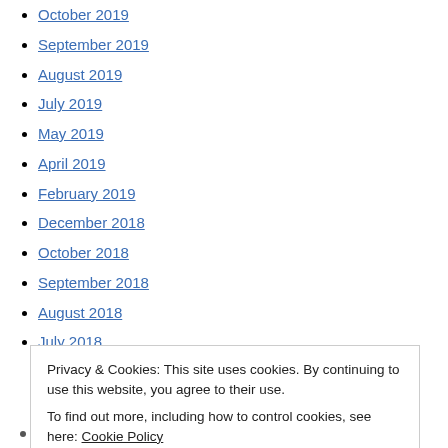October 2019
September 2019
August 2019
July 2019
May 2019
April 2019
February 2019
December 2018
October 2018
September 2018
August 2018
July 2018
Privacy & Cookies: This site uses cookies. By continuing to use this website, you agree to their use.
To find out more, including how to control cookies, see here: Cookie Policy
February 2018